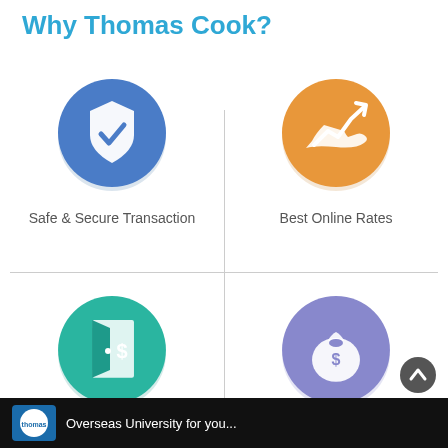Why Thomas Cook?
[Figure (infographic): 2x2 grid of feature icons: (1) Blue circle with shield and checkmark icon labeled 'Safe & Secure Transaction'; (2) Orange circle with hand holding rising graph icon labeled 'Best Online Rates'; (3) Teal circle with open door and dollar sign icon labeled 'Door Step delivery & branch pick up option'; (4) Purple/lavender circle with money bag icon labeled 'Pay Small amount now & block rates']
[Figure (logo): Thomas Cook logo and partial text 'Overseas University for you...' on dark background at bottom of page]